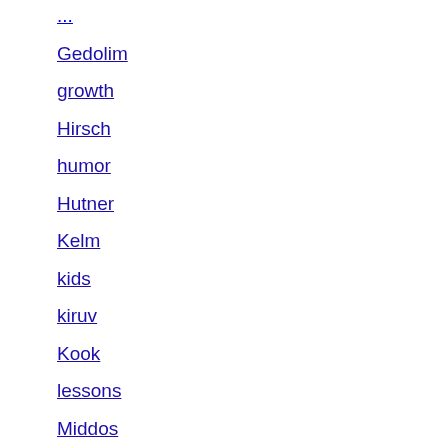Gedolim
growth
Hirsch
humor
Hutner
Kelm
kids
kiruv
Kook
lessons
Middos
mp3 shiurim
music
Mussar
Novardok
parsha
personal
Piasecna Rebbe